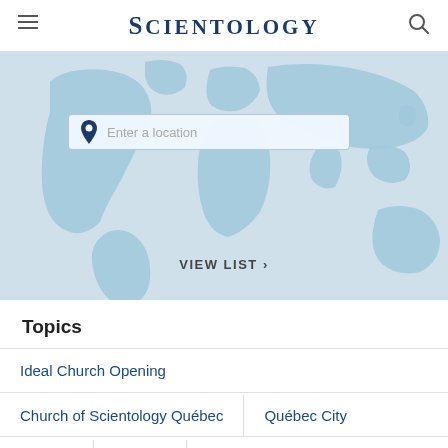SCIENTOLOGY
[Figure (map): World map with light blue continents on white background, with a location search box overlay showing 'Enter a location' placeholder and a 'VIEW LIST >' link]
Topics
Ideal Church Opening
Church of Scientology Québec
Québec City
Québec
Canada